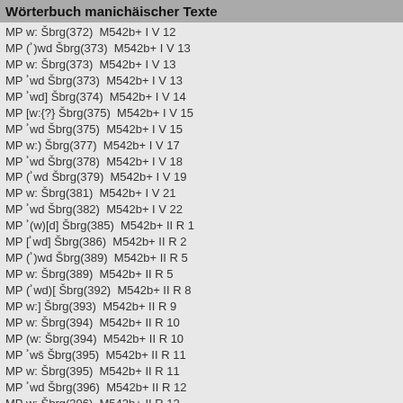Wörterbuch manichäischer Texte
MP w: Šbrg(372)  M542b+ I V 12
MP (ʾ)wd Šbrg(373)  M542b+ I V 13
MP w: Šbrg(373)  M542b+ I V 13
MP ʾwd Šbrg(373)  M542b+ I V 13
MP ʾwd] Šbrg(374)  M542b+ I V 14
MP [w:{?} Šbrg(375)  M542b+ I V 15
MP ʾwd Šbrg(375)  M542b+ I V 15
MP w:) Šbrg(377)  M542b+ I V 17
MP ʾwd Šbrg(378)  M542b+ I V 18
MP (ʾwd Šbrg(379)  M542b+ I V 19
MP w: Šbrg(381)  M542b+ I V 21
MP ʾwd Šbrg(382)  M542b+ I V 22
MP ʾ(w)[d] Šbrg(385)  M542b+ II R 1
MP [ʾwd] Šbrg(386)  M542b+ II R 2
MP (ʾ)wd Šbrg(389)  M542b+ II R 5
MP w: Šbrg(389)  M542b+ II R 5
MP (ʾwd)[ Šbrg(392)  M542b+ II R 8
MP w:] Šbrg(393)  M542b+ II R 9
MP w: Šbrg(394)  M542b+ II R 10
MP (w: Šbrg(394)  M542b+ II R 10
MP ʾwš Šbrg(395)  M542b+ II R 11
MP w: Šbrg(395)  M542b+ II R 11
MP ʾwd Šbrg(396)  M542b+ II R 12
MP w: Šbrg(396)  M542b+ II R 12
MP [w:] Šbrg(397)  M542b+ II R 13
MP (w: Šbrg(399)  M542b+ II R 15
MP [ʾwd Šbrg(400)  M542b+ II R 16
MP ʾ(w)[d] Šbrg(400)  M542b+ II R 16
MP *ʾwd Šbrg(401)  M542b+ II R 17
MP (ʾ)wd Šbrg(404)  {f} M805a+ R 1
MP ʾwd Šbrg(405)  {f} M805a+ R 2